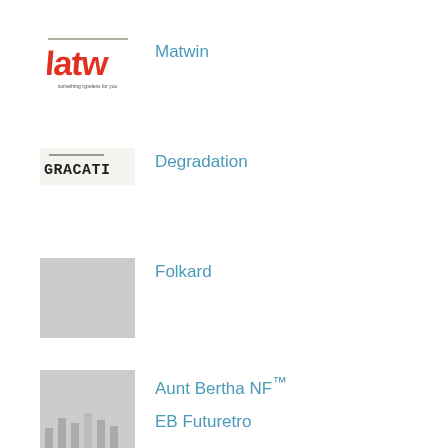[Figure (logo): Matwin font logo with red handwritten-style text 'latw' and small subtitle text]
Matwin
[Figure (logo): Degradation font thumbnail showing 'GRACATI' in degraded serif text on light background]
Degradation
[Figure (other): Folkard font placeholder gray square thumbnail]
Folkard
[Figure (other): Aunt Bertha NF font placeholder gray square thumbnail]
Aunt Bertha NF™
[Figure (other): EB Futuretro font thumbnail partially visible at bottom]
EB Futuretro